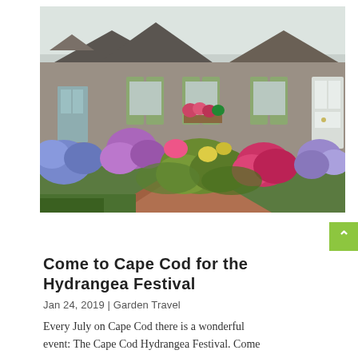[Figure (photo): Photograph of a Cape Cod style house with colorful hydrangeas and flowering bushes in the front garden. The house has gray shingle siding, green shutters, and white trim. The garden features pink, purple, and blue hydrangeas along a brick pathway.]
Come to Cape Cod for the Hydrangea Festival
Jan 24, 2019 | Garden Travel
Every July on Cape Cod there is a wonderful event: The Cape Cod Hydrangea Festival. Come